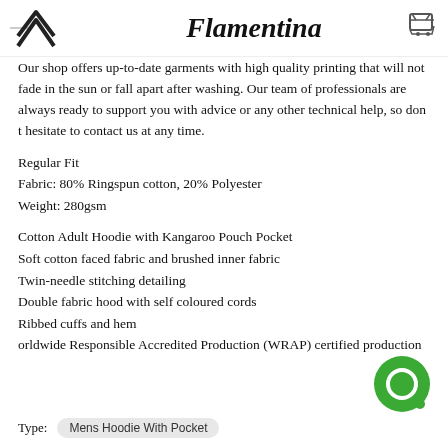[Figure (logo): Flamentina brand logo with arrow/chevron icon on left and script text 'Flamentina' in center, shopping cart icon on right]
Our shop offers up-to-date garments with high quality printing that will not fade in the sun or fall apart after washing. Our team of professionals are always ready to support you with advice or any other technical help, so don t hesitate to contact us at any time.
Regular Fit
Fabric: 80% Ringspun cotton, 20% Polyester
Weight: 280gsm
Cotton Adult Hoodie with Kangaroo Pouch Pocket
Soft cotton faced fabric and brushed inner fabric
Twin-needle stitching detailing
Double fabric hood with self coloured cords
Ribbed cuffs and hem
orldwide Responsible Accredited Production (WRAP) certified production
Type:  Mens Hoodie With Pocket